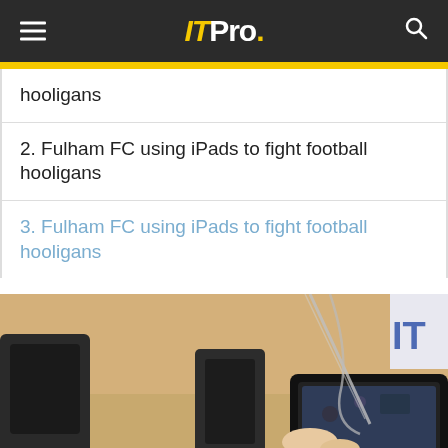ITPro.
hooligans
2. Fulham FC using iPads to fight football hooligans
3. Fulham FC using iPads to fight football hooligans
[Figure (photo): Person holding an iPad/tablet at a desk with chairs and a partial banner visible in the background]